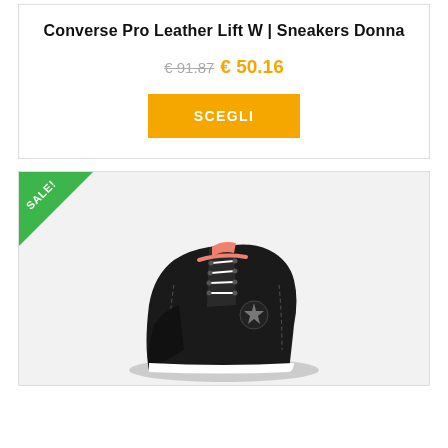Converse Pro Leather Lift W | Sneakers Donna
€ 91.87  € 50.16
SCEGLI
[Figure (photo): Black Converse sneaker shoe with pink/salmon accent on a light gray background, with a SALE! badge in the top-left corner.]